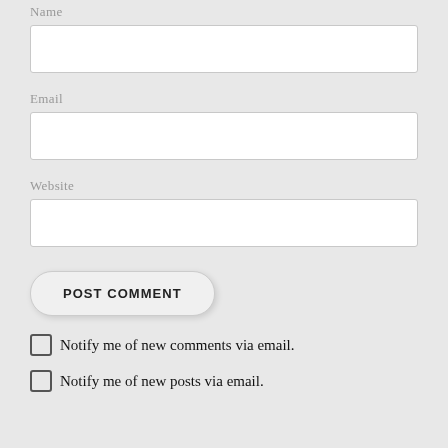Name
[Figure (other): Empty text input field for Name]
Email
[Figure (other): Empty text input field for Email]
Website
[Figure (other): Empty text input field for Website]
POST COMMENT
Notify me of new comments via email.
Notify me of new posts via email.